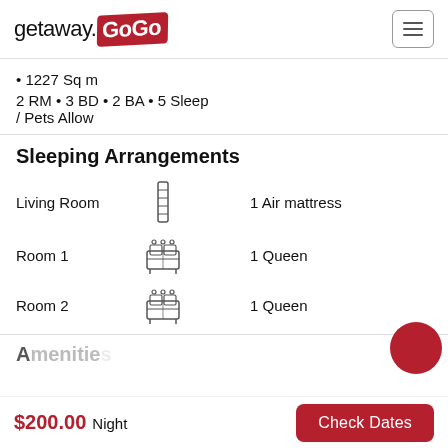getaway.GoGo
1227 Sq m
2 RM • 3 BD • 2 BA • 5 Sleep / Pets Allow
Sleeping Arrangements
| Room | Icon | Bed Type |
| --- | --- | --- |
| Living Room | [air mattress icon] | 1 Air mattress |
| Room 1 | [queen bed icon] | 1 Queen |
| Room 2 | [queen bed icon] | 1 Queen |
Amenities
$200.00 Night   Check Dates